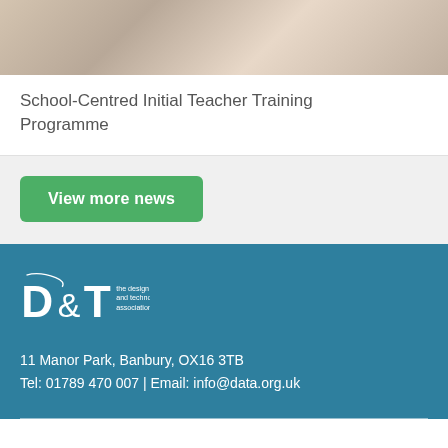[Figure (photo): Photo of hands typing on a laptop keyboard with a coffee cup nearby]
School-Centred Initial Teacher Training Programme
View more news
[Figure (logo): D&T - the design and technology association logo in white on teal background]
11 Manor Park, Banbury, OX16 3TB
Tel: 01789 470 007 | Email: info@data.org.uk